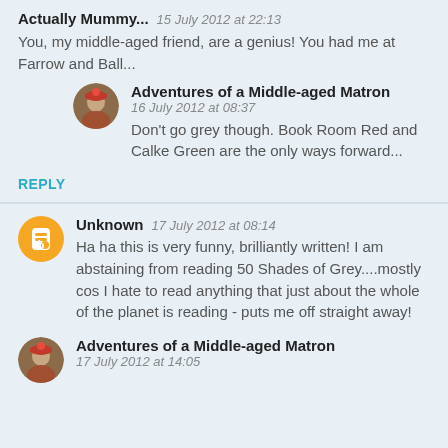Actually Mummy...  15 July 2012 at 22:13
You, my middle-aged friend, are a genius! You had me at Farrow and Ball...
Adventures of a Middle-aged Matron  16 July 2012 at 08:37
Don't go grey though. Book Room Red and Calke Green are the only ways forward...
REPLY
Unknown  17 July 2012 at 08:14
Ha ha this is very funny, brilliantly written! I am abstaining from reading 50 Shades of Grey....mostly cos I hate to read anything that just about the whole of the planet is reading - puts me off straight away!
Adventures of a Middle-aged Matron  17 July 2012 at 14:05